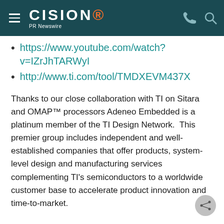CISION PR Newswire
https://www.youtube.com/watch?v=IZrJhTARWyI
http://www.ti.com/tool/TMDXEVM437X
Thanks to our close collaboration with TI on Sitara and OMAP™ processors Adeneo Embedded is a platinum member of the TI Design Network.  This premier group includes independent and well-established companies that offer products, system-level design and manufacturing services complementing TI's semiconductors to a worldwide customer base to accelerate product innovation and time-to-market.